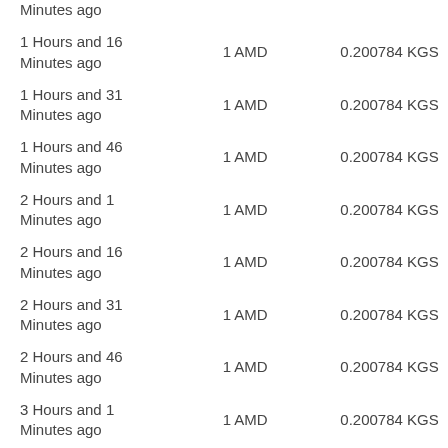| Time | Amount | Rate |
| --- | --- | --- |
| Minutes ago |  |  |
| 1 Hours and 16 Minutes ago | 1 AMD | 0.200784 KGS |
| 1 Hours and 31 Minutes ago | 1 AMD | 0.200784 KGS |
| 1 Hours and 46 Minutes ago | 1 AMD | 0.200784 KGS |
| 2 Hours and 1 Minutes ago | 1 AMD | 0.200784 KGS |
| 2 Hours and 16 Minutes ago | 1 AMD | 0.200784 KGS |
| 2 Hours and 31 Minutes ago | 1 AMD | 0.200784 KGS |
| 2 Hours and 46 Minutes ago | 1 AMD | 0.200784 KGS |
| 3 Hours and 1 Minutes ago | 1 AMD | 0.200784 KGS |
| 3 Hours and 16 Minutes ago | 1 AMD | 0.200784 KGS |
| 3 Hours and 31 Minutes ago | 1 AMD | 0.200784 KGS |